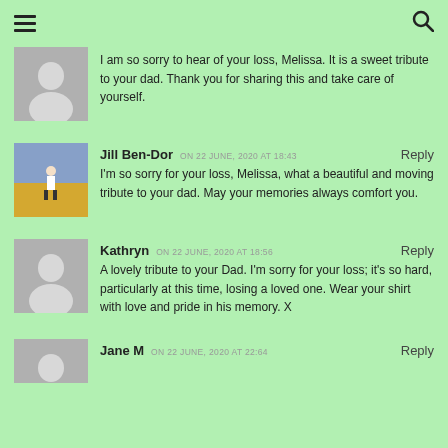≡  🔍
I am so sorry to hear of your loss, Melissa. It is a sweet tribute to your dad. Thank you for sharing this and take care of yourself.
Jill Ben-Dor ON 22 JUNE, 2020 AT 18:43  Reply
I'm so sorry for your loss, Melissa, what a beautiful and moving tribute to your dad. May your memories always comfort you.
Kathryn ON 22 JUNE, 2020 AT 18:56  Reply
A lovely tribute to your Dad. I'm sorry for your loss; it's so hard, particularly at this time, losing a loved one. Wear your shirt with love and pride in his memory. X
Jane M ON 22 JUNE, 2020 AT 22:64  Reply